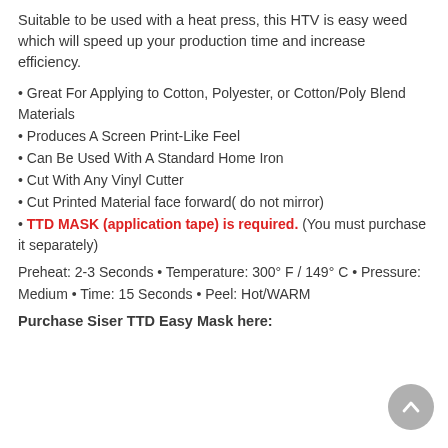Suitable to be used with a heat press, this HTV is easy weed which will speed up your production time and increase efficiency.
• Great For Applying to Cotton, Polyester, or Cotton/Poly Blend Materials
• Produces A Screen Print-Like Feel
• Can Be Used With A Standard Home Iron
• Cut With Any Vinyl Cutter
• Cut Printed Material face forward( do not mirror)
• TTD MASK (application tape) is required. (You must purchase it separately)
Preheat: 2-3 Seconds • Temperature: 300° F / 149° C • Pressure: Medium • Time: 15 Seconds • Peel: Hot/WARM
Purchase Siser TTD Easy Mask here: